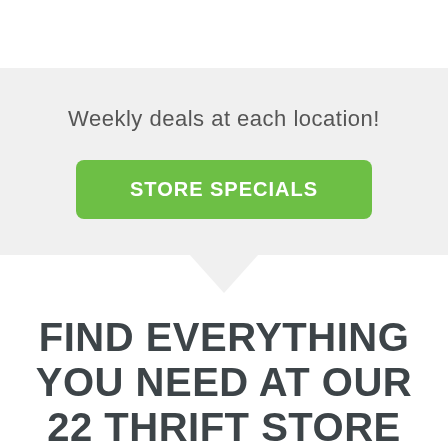Weekly deals at each location!
STORE SPECIALS
FIND EVERYTHING YOU NEED AT OUR 22 THRIFT STORE LOCATIONS